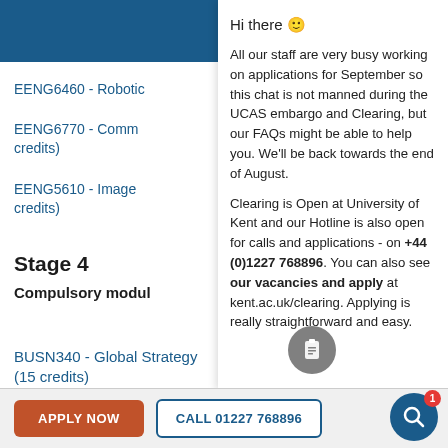University header bar
EENG6460 - Robotic (truncated)
EENG6770 - Comm (truncated) credits)
EENG5610 - Image (truncated) credits)
Stage 4
Compulsory modul
BUSN340 - Global Strategy (15 credits)
Hi there 🙂

All our staff are very busy working on applications for September so this chat is not manned during the UCAS embargo and Clearing, but our FAQs might be able to help you. We'll be back towards the end of August.

Clearing is Open at University of Kent and our Hotline is also open for calls and applications - on +44 (0)1227 768896. You can also see our vacancies and apply at kent.ac.uk/clearing. Applying is really straightforward and easy.
APPLY NOW   CALL 01227 768896